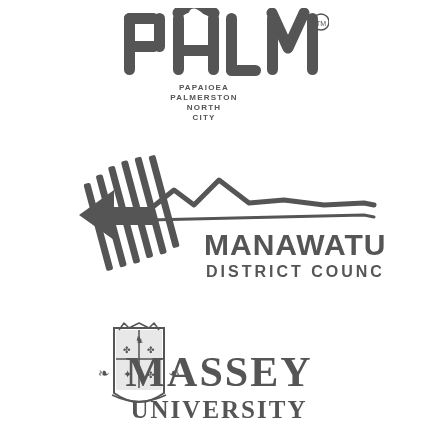[Figure (logo): PALMY logo with PAPAIOEA PALMERSTON NORTH CITY text below, grayscale]
[Figure (logo): Manawatu District Council logo with stylized river/mountain graphic and text, grayscale]
[Figure (logo): Massey University logo with crest and text, grayscale]